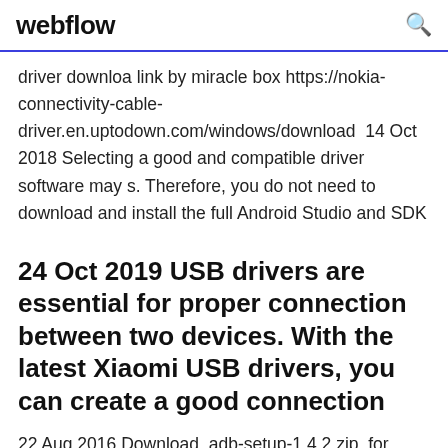webflow
driver downloa link by miracle box https://nokia-connectivity-cable-driver.en.uptodown.com/windows/download  14 Oct 2018 Selecting a good and compatible driver software may s. Therefore, you do not need to download and install the full Android Studio and SDK
24 Oct 2019 USB drivers are essential for proper connection between two devices. With the latest Xiaomi USB drivers, you can create a good connection
22 Aug 2016 Download. adb-setup-1.4.2.zip. for